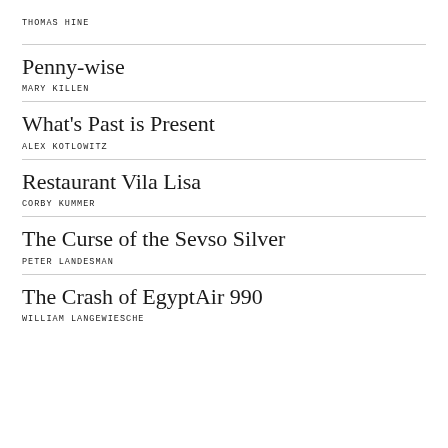THOMAS HINE
Penny-wise
MARY KILLEN
What's Past is Present
ALEX KOTLOWITZ
Restaurant Vila Lisa
CORBY KUMMER
The Curse of the Sevso Silver
PETER LANDESMAN
The Crash of EgyptAir 990
WILLIAM LANGEWIESCHE